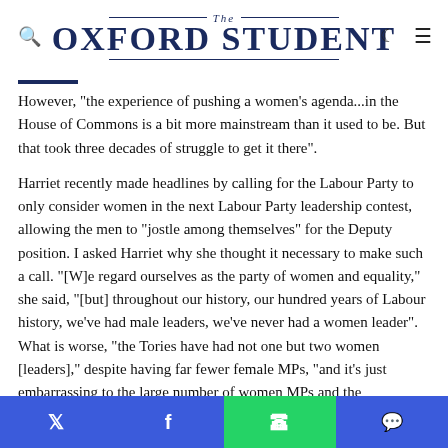The Oxford Student
However, "the experience of pushing a women's agenda...in the House of Commons is a bit more mainstream than it used to be. But that took three decades of struggle to get it there".
Harriet recently made headlines by calling for the Labour Party to only consider women in the next Labour Party leadership contest, allowing the men to "jostle among themselves" for the Deputy position. I asked Harriet why she thought it necessary to make such a call. "[W]e regard ourselves as the party of women and equality," she said, "[but] throughout our history, our hundred years of Labour history, we've had male leaders, we've never had a women leader". What is worse, "the Tories have had not one but two women [leaders]," despite having far fewer female MPs, "and it's just embarrassing to the large number of women MPs and the